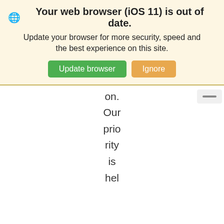[Figure (screenshot): Browser update notification banner with globe icon, bold title 'Your web browser (iOS 11) is out of date.', subtitle text, and two buttons: 'Update browser' (green) and 'Ignore' (orange/tan)]
on. Our prio rity is hel pin g gov ern me nts buil